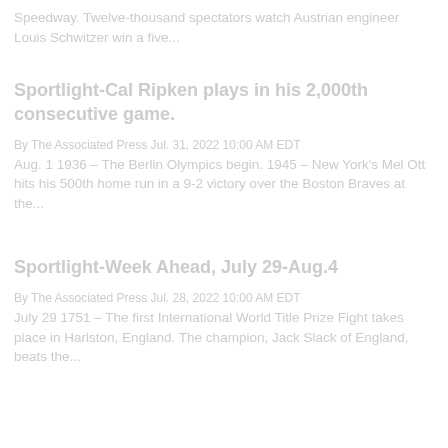Speedway. Twelve-thousand spectators watch Austrian engineer Louis Schwitzer win a five...
Sportlight-Cal Ripken plays in his 2,000th consecutive game.
By The Associated Press Jul. 31, 2022 10:00 AM EDT
Aug. 1 1936 – The Berlin Olympics begin. 1945 – New York's Mel Ott hits his 500th home run in a 9-2 victory over the Boston Braves at the...
Sportlight-Week Ahead, July 29-Aug.4
By The Associated Press Jul. 28, 2022 10:00 AM EDT
July 29 1751 – The first International World Title Prize Fight takes place in Harlston, England. The champion, Jack Slack of England, beats the...